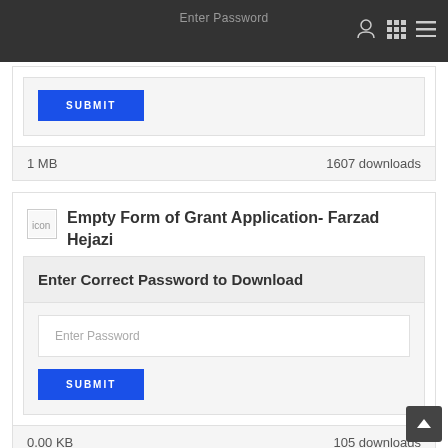Enter Password
SUBMIT
1 MB   1607 downloads
Empty Form of Grant Application- Farzad Hejazi
Enter Correct Password to Download
Enter Password
SUBMIT
0.00 KB   105 downloads